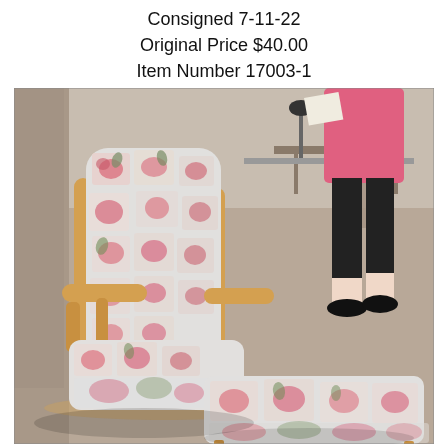Consigned 7-11-22
Original Price $40.00
Item Number 17003-1
[Figure (photo): A floral-upholstered glider rocking chair with matching ottoman, wooden frame with light oak finish, fabric has a patchwork pattern of pink/red flowers with green leaves on a light blue/grey background. A person (visible from waist down, wearing pink top, black leggings, black sneakers) stands in the background to the right in what appears to be a consignment or thrift store.]